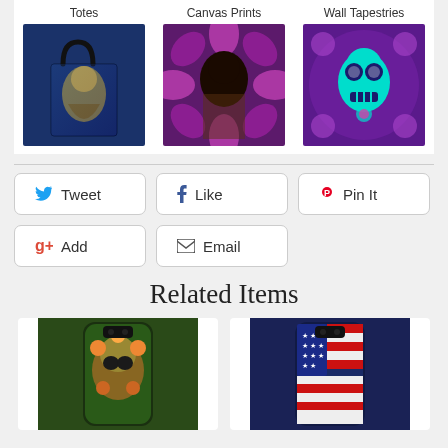[Figure (photo): Three product category thumbnails: Totes (decorative tote bag with buddha/angel art), Canvas Prints (buddha face on purple floral background), Wall Tapestries (colorful sugar skull on purple pattern)]
[Figure (infographic): Social sharing buttons: Tweet (Twitter blue bird), Like (Facebook blue f), Pin It (Pinterest red P), Add (Google+ red icon), Email (envelope icon)]
Related Items
[Figure (photo): Phone case with floral sugar skull design on dark background]
[Figure (photo): Phone case with American flag design (stars and stripes, vintage/distressed look)]